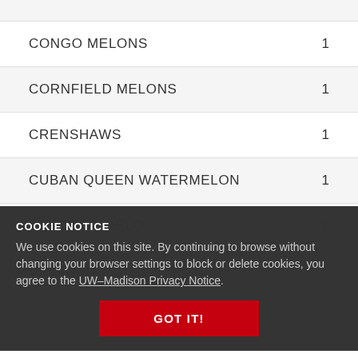CONGO MELONS    1
CORNFIELD MELONS    1
CRENSHAWS    1
CUBAN QUEEN WATERMELON    1
COOKIE NOTICE
We use cookies on this site. By continuing to browse without changing your browser settings to block or delete cookies, you agree to the UW–Madison Privacy Notice.
DEADROP MELONS    1
DIAMONDS    1